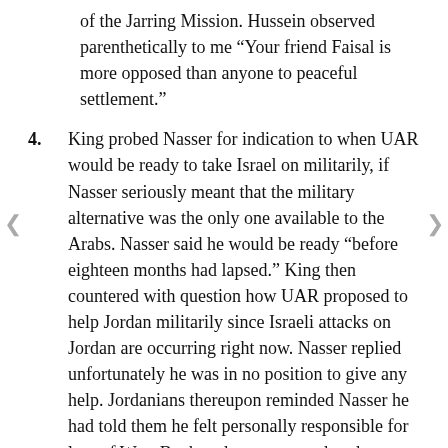of the Jarring Mission. Hussein observed parenthetically to me "Your friend Faisal is more opposed than anyone to peaceful settlement."
4. King probed Nasser for indication to when UAR would be ready to take Israel on militarily, if Nasser seriously meant that the military alternative was the only one available to the Arabs. Nasser said he would be ready "before eighteen months had lapsed." King then countered with question how UAR proposed to help Jordan militarily since Israeli attacks on Jordan are occurring right now. Nasser replied unfortunately he was in no position to give any help. Jordanians thereupon reminded Nasser he had told them he felt personally responsible for loss of West Bank and was prepared to do anything possible to help King recover his lost territory. King pressed this point home with comment "Now you say no political solution and yet you cannot help us militarily." King said he pointed out to Nasser that whether UAR liked it or not Jordan did not intend to continue to bear alone the brunt of Israeli military attacks and would call for assistance other Arab states, specifically UAR. Thus, King